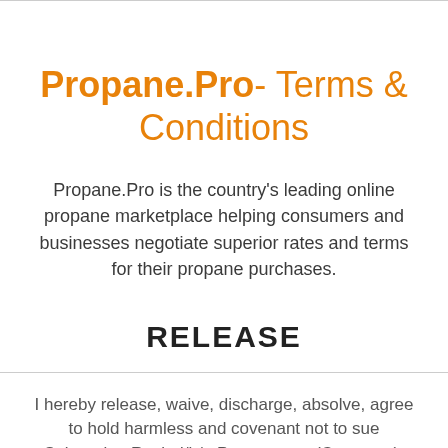Propane.Pro- Terms & Conditions
Propane.Pro is the country's leading online propane marketplace helping consumers and businesses negotiate superior rates and terms for their propane purchases.
RELEASE
I hereby release, waive, discharge, absolve, agree to hold harmless and covenant not to sue Submarine Rock d/b/a Propane.pro (Company), and/or any of its